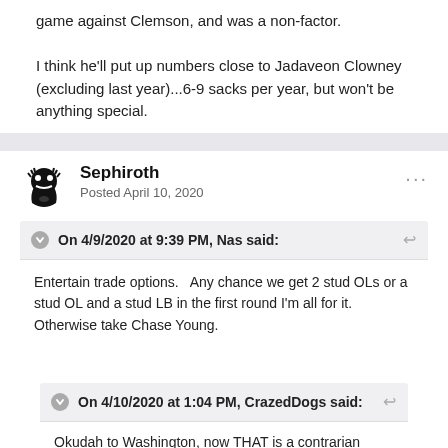game against Clemson, and was a non-factor.

I think he'll put up numbers close to Jadaveon Clowney (excluding last year)...6-9 sacks per year, but won't be anything special.
Sephiroth
Posted April 10, 2020
On 4/9/2020 at 9:39 PM, Nas said:
Entertain trade options.   Any chance we get 2 stud OLs or a stud OL and a stud LB in the first round I'm all for it. Otherwise take Chase Young.
On 4/10/2020 at 1:04 PM, CrazedDogs said:
Okudah to Washington, now THAT is a contrarian opinion!